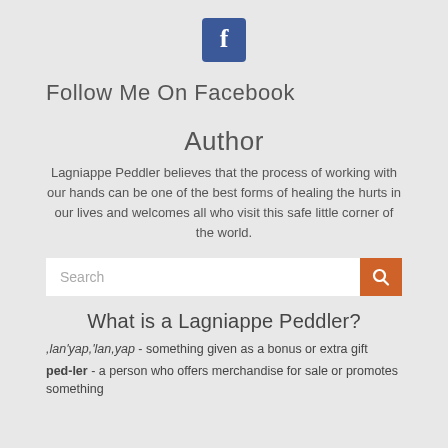[Figure (logo): Facebook logo: blue square with white lowercase f]
Follow Me On Facebook
Author
Lagniappe Peddler believes that the process of working with our hands can be one of the best forms of healing the hurts in our lives and welcomes all who visit this safe little corner of the world.
[Figure (other): Search bar with orange search button]
What is a Lagniappe Peddler?
,lan'yap,'lan,yap - something given as a bonus or extra gift
ped-ler - a person who offers merchandise for sale or promotes something